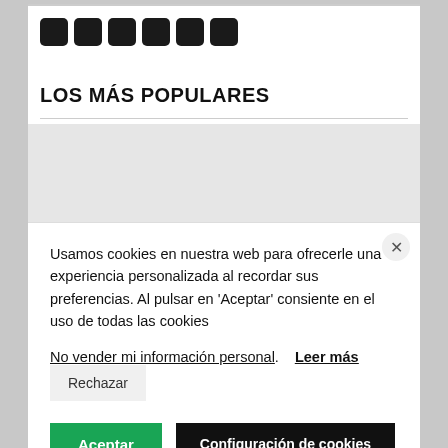[Figure (other): Row of 6 dark rounded square icon boxes]
LOS MÁS POPULARES
Usamos cookies en nuestra web para ofrecerle una experiencia personalizada al recordar sus preferencias. Al pulsar en 'Aceptar' consiente en el uso de todas las cookies
No vender mi información personal. Leer más Rechazar
Aceptar  Configuración de cookies